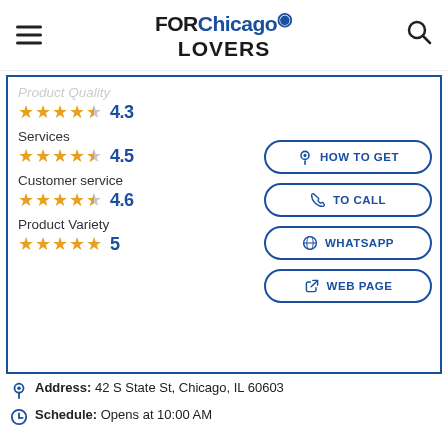FOR Chicago LOVERS
Product Quality
4.3
Services
4.5
Customer service
4.6
Product Variety
5
HOW TO GET
TO CALL
WHATSAPP
WEB PAGE
Address: 42 S State St, Chicago, IL 60603
Schedule: Opens at 10:00 AM